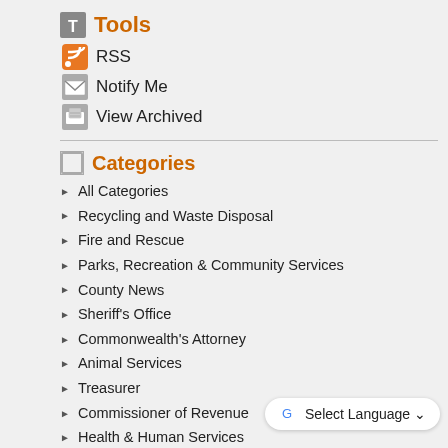Tools
RSS
Notify Me
View Archived
Categories
All Categories
Recycling and Waste Disposal
Fire and Rescue
Parks, Recreation & Community Services
County News
Sheriff's Office
Commonwealth's Attorney
Animal Services
Treasurer
Commissioner of Revenue
Health & Human Services
Transit
Elections
Clerk of the Circuit Court
Virginia Cooperative Extension- Loudoun
Espanol